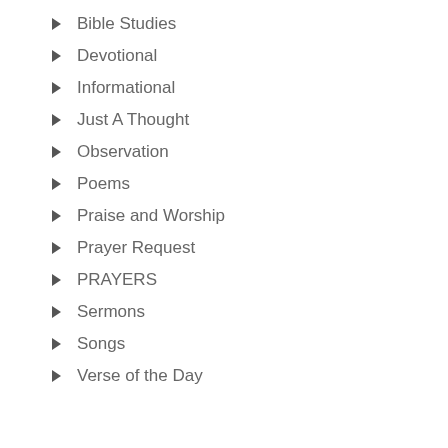Bible Studies
Devotional
Informational
Just A Thought
Observation
Poems
Praise and Worship
Prayer Request
PRAYERS
Sermons
Songs
Verse of the Day